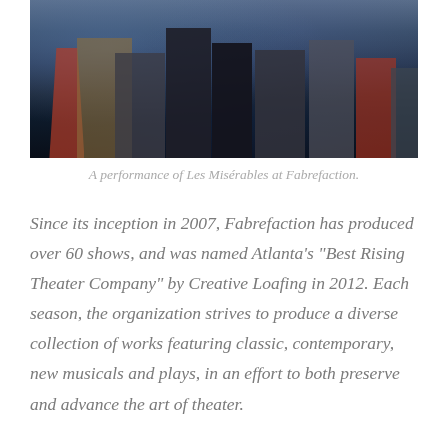[Figure (photo): A performance photo of Les Misérables at Fabrefaction theater, showing performers on stage with dramatic blue lighting, figures in period costumes dancing and moving across the stage.]
A performance of Les Misérables at Fabrefaction.
Since its inception in 2007, Fabrefaction has produced over 60 shows, and was named Atlanta's "Best Rising Theater Company" by Creative Loafing in 2012. Each season, the organization strives to produce a diverse collection of works featuring classic, contemporary, new musicals and plays, in an effort to both preserve and advance the art of theater.